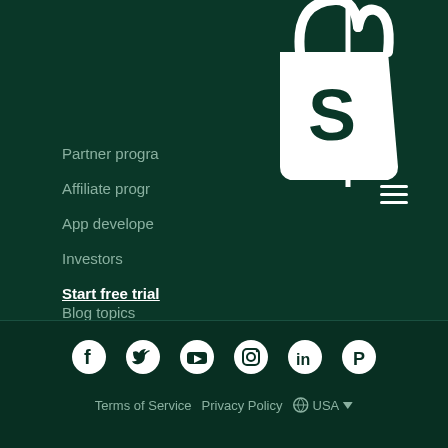[Figure (logo): Shopify white shopping bag logo with S letter on dark green background]
Partner program
Affiliate program
App developers
Investors
Start free trial
Blog topics
Community Events
[Figure (infographic): Social media icons row: Facebook, Twitter, YouTube, Instagram, LinkedIn, Pinterest]
Terms of Service   Privacy Policy   🌐 USA ▼